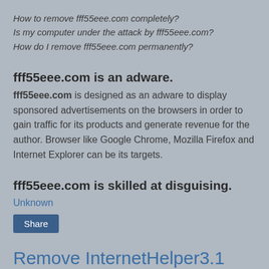How to remove fff55eee.com completely?
Is my computer under the attack by fff55eee.com?
How do I remove fff55eee.com permanently?
fff55eee.com is an adware.
fff55eee.com is designed as an adware to display sponsored advertisements on the browsers in order to gain traffic for its products and generate revenue for the author. Browser like Google Chrome, Mozilla Firefox and Internet Explorer can be its targets.
fff55eee.com is skilled at disguising.
Unknown
Share
Remove InternetHelper3.1 Adware Completely, How?